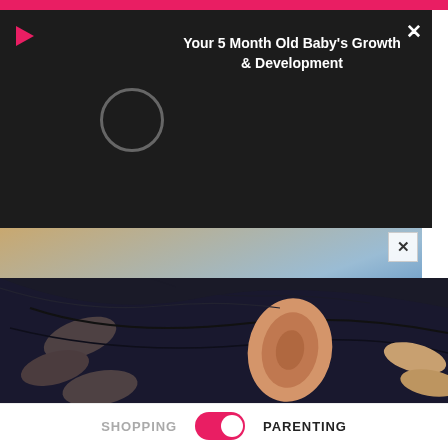[Figure (screenshot): Pink top bar of a mobile app]
[Figure (screenshot): Video overlay with play icon, loading spinner, and title 'Your 5 Month Old Baby's Growth & Development' on dark background with close X button]
[Figure (photo): Advertisement image showing partial view of a person with blue background, with an X close button]
This Simple Trick Empties Almost Immediately Your Bowels Every Morning
Gundry MD | Total Restore
Learn More
[Figure (photo): Close-up photo of a person's ear and hair with hands touching the head]
SHOPPING
PARENTING